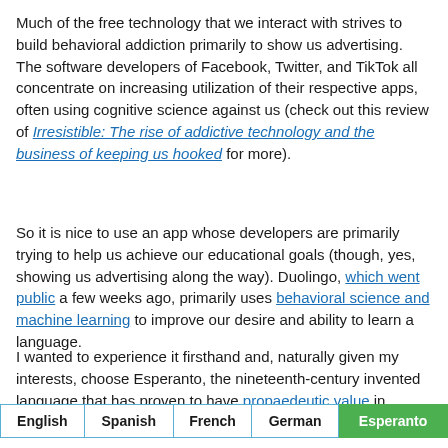Much of the free technology that we interact with strives to build behavioral addiction primarily to show us advertising. The software developers of Facebook, Twitter, and TikTok all concentrate on increasing utilization of their respective apps, often using cognitive science against us (check out this review of Irresistible: The rise of addictive technology and the business of keeping us hooked for more).
So it is nice to use an app whose developers are primarily trying to help us achieve our educational goals (though, yes, showing us advertising along the way). Duolingo, which went public a few weeks ago, primarily uses behavioral science and machine learning to improve our desire and ability to learn a language.
I wanted to experience it firsthand and, naturally given my interests, choose Esperanto, the nineteenth-century invented language that has proven to have propaedeutic value in learning other languages.
| English | Spanish | French | German | Esperanto |
| --- | --- | --- | --- | --- |